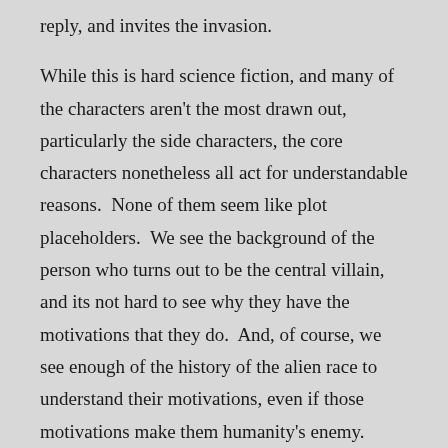reply, and invites the invasion.
While this is hard science fiction, and many of the characters aren't the most drawn out, particularly the side characters, the core characters nonetheless all act for understandable reasons.  None of them seem like plot placeholders.  We see the background of the person who turns out to be the central villain, and its not hard to see why they have the motivations that they do.  And, of course, we see enough of the history of the alien race to understand their motivations, even if those motivations make them humanity's enemy.
The fact that this is a work translated from Chinese makes for some awkward reading, particularly in the early chapters.  As an American reading this book, the